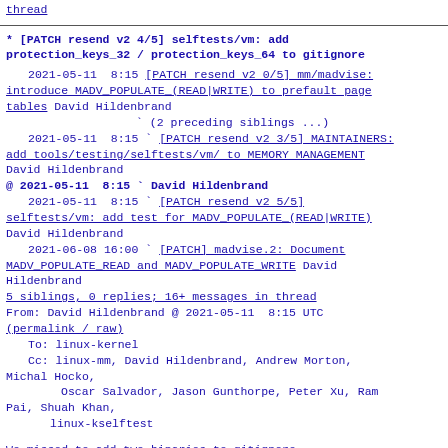thread
* [PATCH resend v2 4/5] selftests/vm: add protection_keys_32 / protection_keys_64 to gitignore
2021-05-11  8:15 [PATCH resend v2 0/5] mm/madvise: introduce MADV_POPULATE_(READ|WRITE) to prefault page tables David Hildenbrand
                ` (2 preceding siblings ...)
  2021-05-11  8:15 ` [PATCH resend v2 3/5] MAINTAINERS: add tools/testing/selftests/vm/ to MEMORY MANAGEMENT David Hildenbrand
@ 2021-05-11  8:15 ` David Hildenbrand
  2021-05-11  8:15 ` [PATCH resend v2 5/5] selftests/vm: add test for MADV_POPULATE_(READ|WRITE) David Hildenbrand
  2021-06-08 16:00 ` [PATCH] madvise.2: Document MADV_POPULATE_READ and MADV_POPULATE_WRITE David Hildenbrand
  5 siblings, 0 replies; 16+ messages in thread
From: David Hildenbrand @ 2021-05-11  8:15 UTC
(permalink / raw)
  To: linux-kernel
  Cc: linux-mm, David Hildenbrand, Andrew Morton, Michal Hocko,
        Oscar Salvador, Jason Gunthorpe, Peter Xu, Ram Pai, Shuah Khan,
        linux-kselftest
We missed to add two binaries to gitignore,